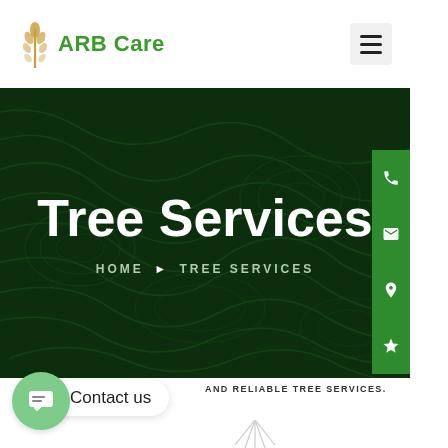[Figure (logo): ARB Care logo with wheat/plant stalk icon in gold/amber and green text]
[Figure (screenshot): Website hero banner with dark green background, topographic contour lines pattern, displaying 'Tree Services' heading and breadcrumb navigation HOME > TREE SERVICES, with green side contact buttons (phone, email, location, star)]
[Figure (infographic): Chat widget bubble with green circle icon and 'Contact us' label, alongside text AND RELIABLE TREE SERVICES. with decorative lines below]